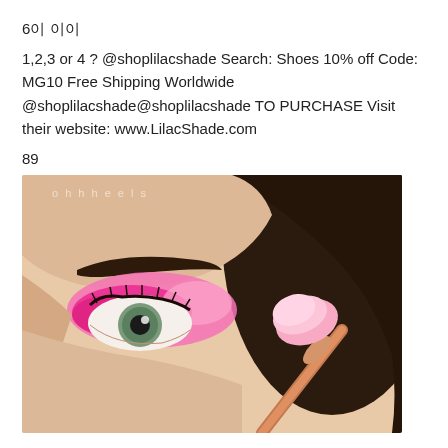6이 이이
1,2,3 or 4 ? @shoplilacshade Search: Shoes 10% off Code: MG10 Free Shipping Worldwide @shoplilacshade@shoplilacshade TO PURCHASE Visit their website: www.LilacShade.com
89
[Figure (photo): Close-up photo of a woman's eye with pink eyeshadow being applied with a rose-gold makeup brush. The woman has green/grey eyes and well-defined dark brows. Pink and magenta eyeshadow blended on the lid. A watermark 'ohhheels' is visible in the top-left corner of the photo.]